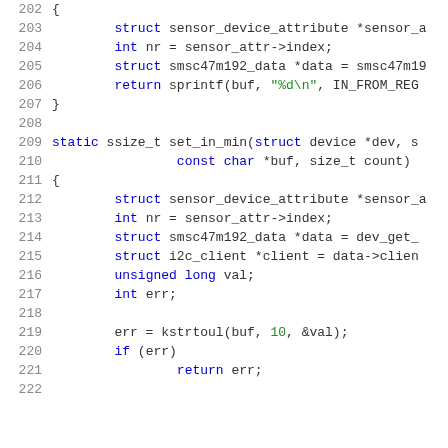[Figure (screenshot): Source code listing in C showing lines 202-222, with syntax highlighting. Blue keywords, green strings/numbers, dark text for identifiers. White background with gray line numbers.]